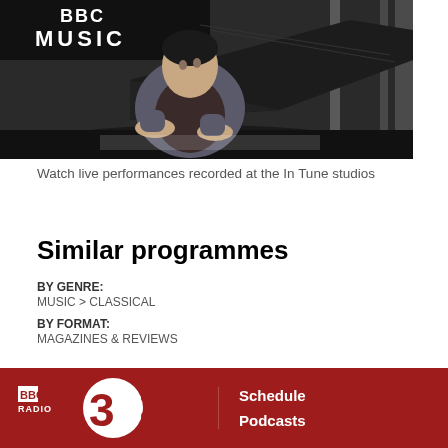[Figure (photo): A pianist sitting at a grand piano in a studio with 'BBC MUSIC' signage visible in the background, looking upward]
Watch live performances recorded at the In Tune studios
Similar programmes
BY GENRE:
MUSIC > CLASSICAL
BY FORMAT:
MAGAZINES & REVIEWS
BBC RADIO 3 | Schedule | Podcasts